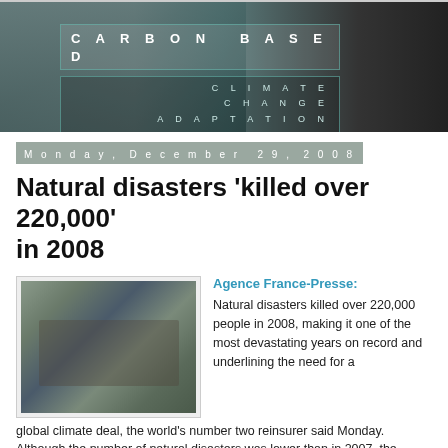[Figure (illustration): Carbon Based Climate Change Adaptation website banner with dark stormy ocean background and teal/white lettering]
Monday, December 29, 2008
Natural disasters 'killed over 220,000' in 2008
[Figure (photo): Aerial photograph of natural disaster damage, showing devastated landscape with debris]
Agence France-Presse: Natural disasters killed over 220,000 people in 2008, making it one of the most devastating years on record and underlining the need for a global climate deal, the world's number two reinsurer said Monday. Although the number of natural disasters was lower than in 2007, the catastrophes that occurred proved to be